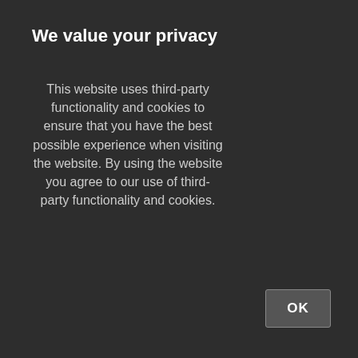We value your privacy
This website uses third-party functionality and cookies to ensure that you have the best possible experience when visiting the website. By using the website you agree to our use of third-party functionality and cookies.
OK